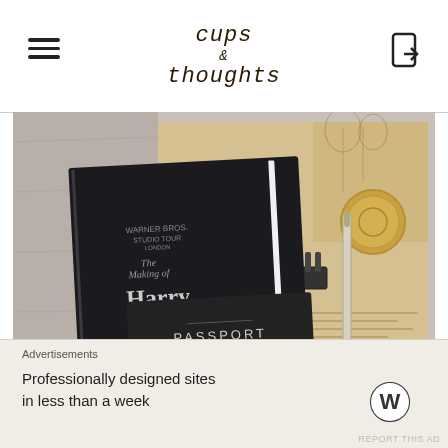cups & thoughts
[Figure (photo): Overhead flat-lay photo showing a black Harry Potter Studio Tour guidebook, a PASSPORT-labeled booklet, coins, a binder clip, and a Marauder's Map-style illustrated parchment on a light wooden surface.]
Not the best photos out there, and I can surely do
Advertisements
Professionally designed sites in less than a week